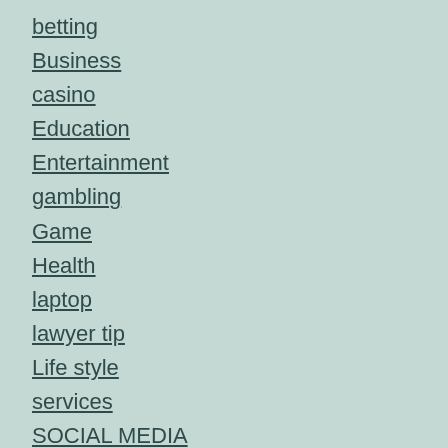betting
Business
casino
Education
Entertainment
gambling
Game
Health
laptop
lawyer tip
Life style
services
SOCIAL MEDIA